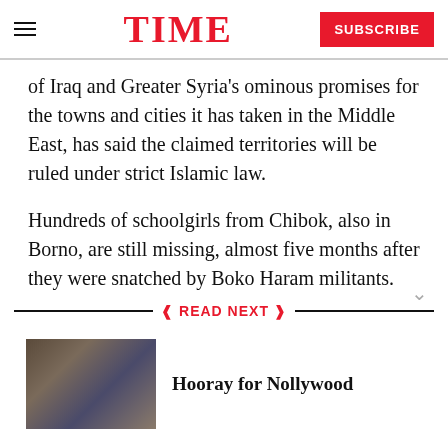TIME | SUBSCRIBE
of Iraq and Greater Syria’s ominous promises for the towns and cities it has taken in the Middle East, has said the claimed territories will be ruled under strict Islamic law.
Hundreds of schoolgirls from Chibok, also in Borno, are still missing, almost five months after they were snatched by Boko Haram militants.
READ NEXT
[Figure (photo): Street scene photo used as thumbnail for Nollywood article]
Hooray for Nollywood